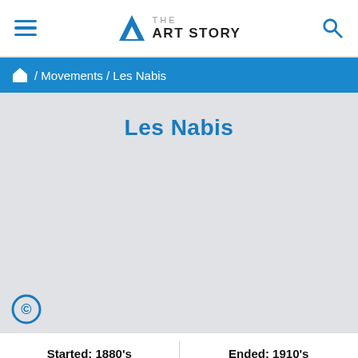THE ART STORY
/ Movements / Les Nabis
Les Nabis
[Figure (photo): Large image placeholder area for Les Nabis artwork, shown as a gray rectangle with a copyright badge in the lower left corner.]
Started: 1880's
Ended: 1910's
““